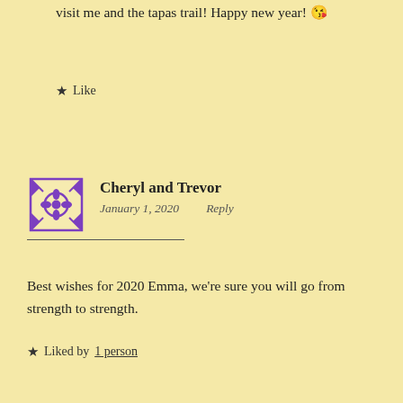visit me and the tapas trail! Happy new year! 😘
★ Like
Cheryl and Trevor
January 1, 2020    Reply
Best wishes for 2020 Emma, we're sure you will go from strength to strength.
★ Liked by 1 person